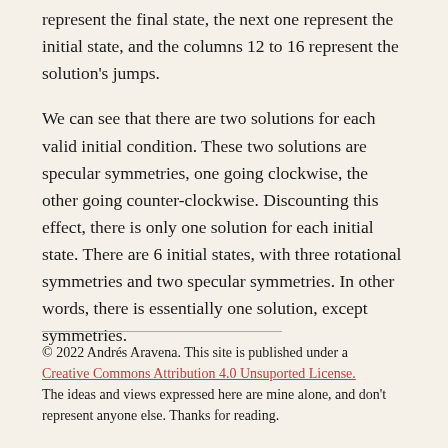in the final output, the first 11 columns represent the final state, the next one represent the initial state, and the columns 12 to 16 represent the solution's jumps.
We can see that there are two solutions for each valid initial condition. These two solutions are specular symmetries, one going clockwise, the other going counter-clockwise. Discounting this effect, there is only one solution for each initial state. There are 6 initial states, with three rotational symmetries and two specular symmetries. In other words, there is essentially one solution, except symmetries.
© 2022 Andrés Aravena. This site is published under a Creative Commons Attribution 4.0 Unsuported License. The ideas and views expressed here are mine alone, and don't represent anyone else. Thanks for reading.